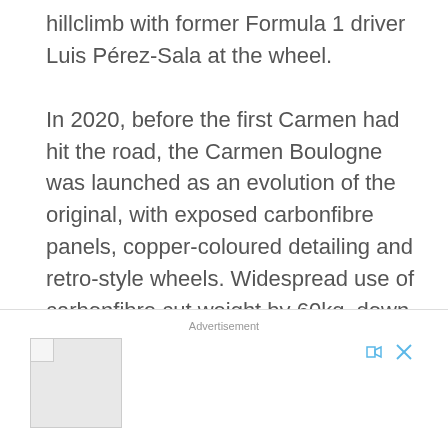hillclimb with former Formula 1 driver Luis Pérez-Sala at the wheel.

In 2020, before the first Carmen had hit the road, the Carmen Boulogne was launched as an evolution of the original, with exposed carbonfibre panels, copper-coloured detailing and retro-style wheels. Widespread use of carbonfibre cut weight by 60kg, down to a not-unreasonable (for an electric car, at least) 1630kg, while the double-wishbone front and rear suspension was revised for tighter handling.
[Figure (other): Advertisement placeholder with a document/file icon on the left and close/skip controls on the top right]